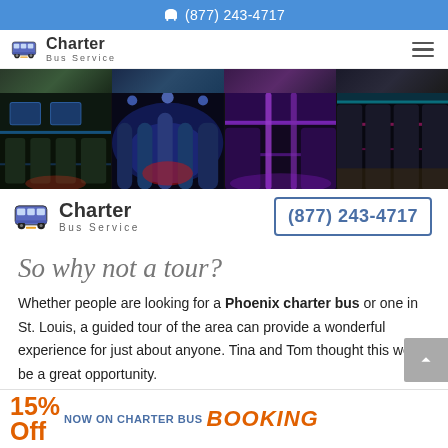(877) 243-4717
[Figure (logo): Charter Bus Service logo with bus icon in header]
[Figure (photo): Strip of party bus interior photos - two rows showing colorful LED lit interiors]
[Figure (logo): Charter Bus Service logo centered on page]
(877) 243-4717
So why not a tour?
Whether people are looking for a Phoenix charter bus or one in St. Louis, a guided tour of the area can provide a wonderful experience for just about anyone. Tina and Tom thought this would be a great opportunity.
[Figure (infographic): 15% Off Now on Charter Bus Booking promotional banner in orange and blue]